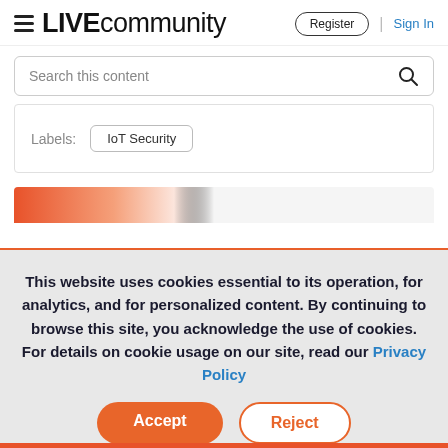LIVE community | Register | Sign In
Search this content
Labels: IoT Security
This website uses cookies essential to its operation, for analytics, and for personalized content. By continuing to browse this site, you acknowledge the use of cookies. For details on cookie usage on our site, read our Privacy Policy
Accept  Reject